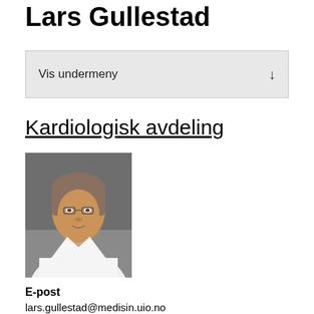Lars Gullestad
Vis undermeny
Kardiologisk avdeling
[Figure (photo): Portrait photo of Lars Gullestad, a man with grey-brown hair wearing glasses and a white coat, photographed against a grey background.]
E-post
lars.gullestad@medisin.uio.no